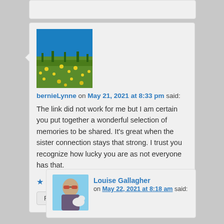[Figure (photo): Avatar photo showing a yellow flower field under blue sky]
bernieLynne on May 21, 2021 at 8:33 pm said:
The link did not work for me but I am certain you put together a wonderful selection of memories to be shared. It's great when the sister connection stays that strong. I trust you recognize how lucky you are as not everyone has that.
★ Liked by 1 person
Reply ↓
[Figure (photo): Avatar photo of Louise Gallagher, a woman with sunglasses]
Louise Gallagher on May 22, 2021 at 8:18 am said: